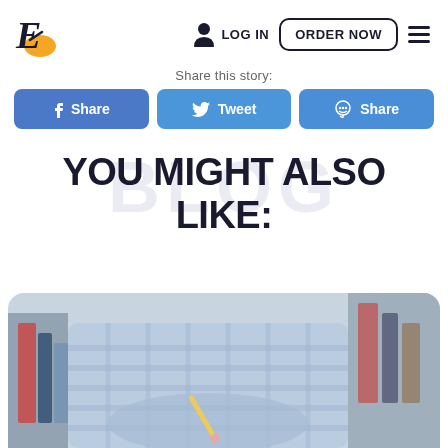E [logo] | LOG IN | ORDER NOW | [menu]
Share this story:
f Share
Tweet
Share
YOU MIGHT ALSO LIKE:
[Figure (photo): Person in plaid shirt writing or studying, blurred background with books]